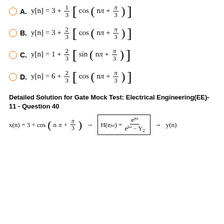A. y[n] = 3 + 1/3 [cos(nπ + π/3)]
B. y[n] = 3 + 2/3 [cos(nπ + π/3)]
C. y[n] = 1 + 2/3 [sin(nπ + π/3)]
D. y[n] = 6 + 2/3 [cos(nπ + π/3)]
Detailed Solution for Gate Mock Test: Electrical Engineering(EE)- 11 - Question 40